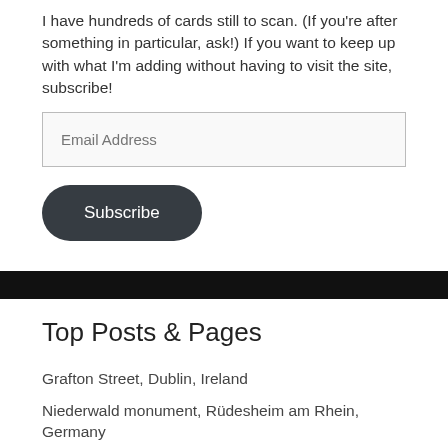I have hundreds of cards still to scan. (If you're after something in particular, ask!) If you want to keep up with what I'm adding without having to visit the site, subscribe!
Email Address
Subscribe
Top Posts & Pages
Grafton Street, Dublin, Ireland
Niederwald monument, Rüdesheim am Rhein, Germany
Tugendbrunnen/Fountain of Virtues, Nuremberg